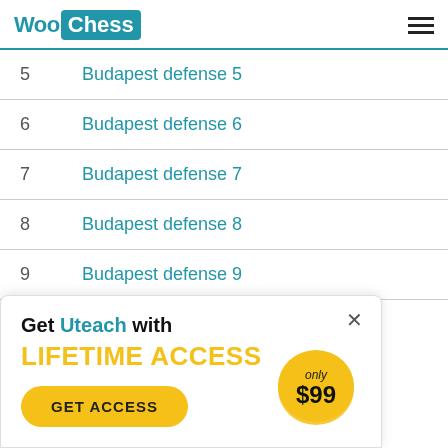WooChess
5    Budapest defense 5
6    Budapest defense 6
7    Budapest defense 7
8    Budapest defense 8
9    Budapest defense 9
Get Uteach with LIFETIME ACCESS
GET ACCESS
only $99